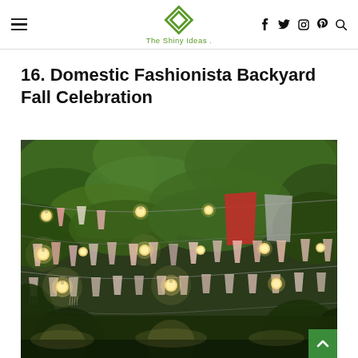The Shiny Ideas — navigation header with menu, logo, and social icons (Facebook, Twitter, Instagram, Pinterest, Search)
16. Domestic Fashionista Backyard Fall Celebration
[Figure (photo): Outdoor backyard fall celebration scene with colorful fabric pennant banners and string lights with Edison bulbs hanging from tree branches amid green foliage, photographed at dusk/evening.]